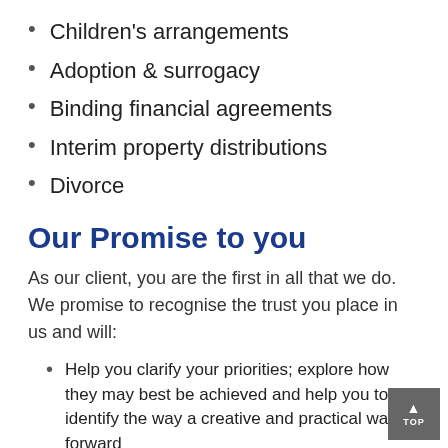Children's arrangements
Adoption & surrogacy
Binding financial agreements
Interim property distributions
Divorce
Our Promise to you
As our client, you are the first in all that we do. We promise to recognise the trust you place in us and will:
Help you clarify your priorities; explore how they may best be achieved and help you to identify the way a creative and practical way forward
Give clear advice about your rights and